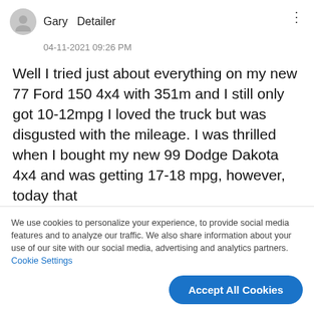Gary  Detailer
04-11-2021 09:26 PM
Well I tried just about everything on my new 77 Ford 150 4x4 with 351m and I still only got 10-12mpg I loved the truck but was disgusted with the mileage. I was thrilled when I bought my new 99 Dodge Dakota 4x4 and was getting 17-18 mpg, however, today that
We use cookies to personalize your experience, to provide social media features and to analyze our traffic. We also share information about your use of our site with our social media, advertising and analytics partners. Cookie Settings
Accept All Cookies